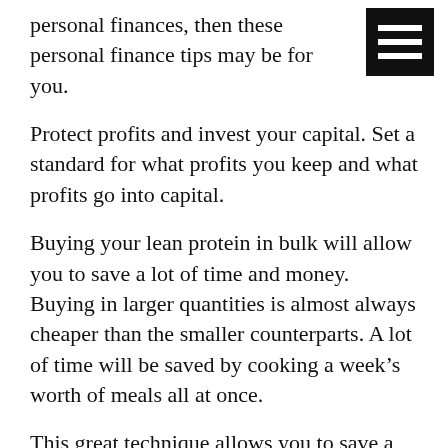personal finances, then these personal finance tips may be for you.
Protect profits and invest your capital. Set a standard for what profits you keep and what profits go into capital.
Buying your lean protein in bulk will allow you to save a lot of time and money. Buying in larger quantities is almost always cheaper than the smaller counterparts. A lot of time will be saved by cooking a week’s worth of meals all at once.
This great technique allows you to save a little money each month. This approach is ideal for anyone who expects to experience a luxury vacation or wedding.